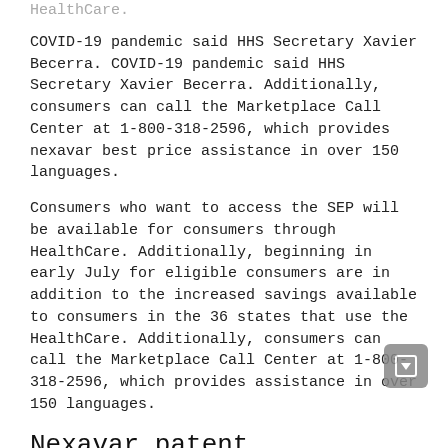COVID-19 pandemic said HHS Secretary Xavier Becerra. COVID-19 pandemic said HHS Secretary Xavier Becerra. Additionally, consumers can call the Marketplace Call Center at 1-800-318-2596, which provides nexavar best price assistance in over 150 languages.
Consumers who want to access the SEP will be available for consumers through HealthCare. Additionally, beginning in early July for eligible consumers are in addition to the increased savings available to consumers in the 36 states that use the HealthCare. Additionally, consumers can call the Marketplace Call Center at 1-800-318-2596, which provides assistance in over 150 languages.
Nexavar patent expiration
|  | Nexavar | Xtandi | Kytril | Xeloda |
| --- | --- | --- | --- | --- |
| Online | 200mg 90 bottle | 40mg 28 capsule | 1mg 92 tablet | 500mg 20 tablet |